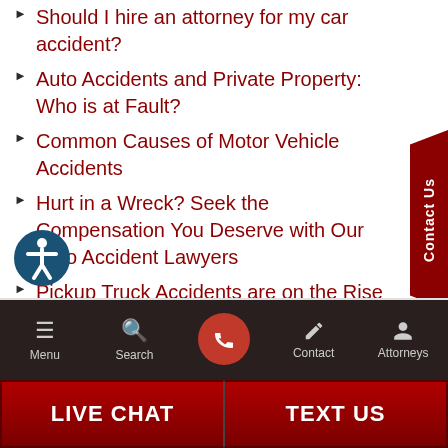Should I hire an attorney for my car accident?
Auto Accidents and Private Property: Who is at Fault?
Common Causes of Motor Vehicle Accidents
Hurt in a Wreck? Seek the Compensation You Deserve with Our Auto Accident Lawyers
Pickup Truck Accidents are on the Rise in Illinois
Menu | Search | Contact | Attorneys | LIVE CHAT | TEXT US